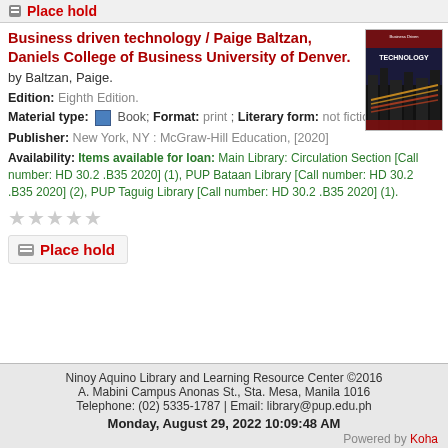Place hold
Business driven technology / Paige Baltzan, Daniels College of Business University of Denver.
by Baltzan, Paige.
Edition: Eighth Edition.
Material type: Book; Format: print ; Literary form: not fiction
Publisher: New York, NY : McGraw-Hill Education, [2020]
Availability: Items available for loan: Main Library: Circulation Section [Call number: HD 30.2 .B35 2020] (1), PUP Bataan Library [Call number: HD 30.2 .B35 2020] (2), PUP Taguig Library [Call number: HD 30.2 .B35 2020] (1).
[Figure (illustration): Book cover of Business Driven Technology showing city lights background with red and yellow streaks]
Place hold
Ninoy Aquino Library and Learning Resource Center ©2016
A. Mabini Campus Anonas St., Sta. Mesa, Manila 1016
Telephone: (02) 5335-1787 | Email: library@pup.edu.ph
Monday, August 29, 2022 10:09:48 AM
Powered by Koha